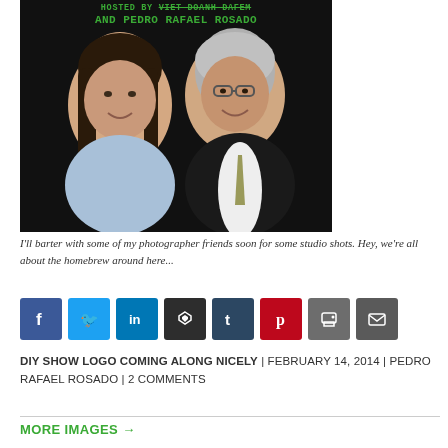[Figure (photo): Photo of two people — a woman with dark hair on the left and a man with glasses on the right — against a black background, with green text overlay reading 'HOSTED BY' and 'AND PEDRO RAFAEL ROSADO' at the top]
I'll barter with some of my photographer friends soon for some studio shots. Hey, we're all about the homebrew around here...
[Figure (infographic): Row of social media share buttons: Facebook, Twitter, LinkedIn, Buffer, Tumblr, Pinterest, Print, Email]
DIY SHOW LOGO COMING ALONG NICELY | FEBRUARY 14, 2014 | PEDRO RAFAEL ROSADO | 2 COMMENTS
MORE IMAGES →